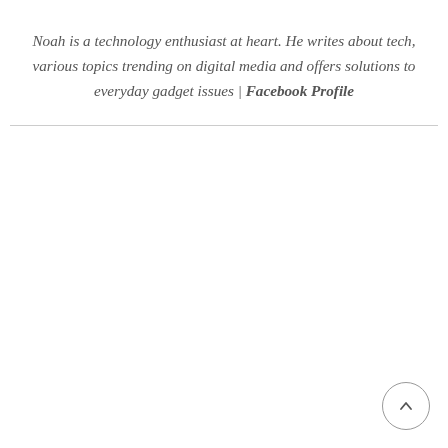Noah is a technology enthusiast at heart. He writes about tech, various topics trending on digital media and offers solutions to everyday gadget issues | Facebook Profile